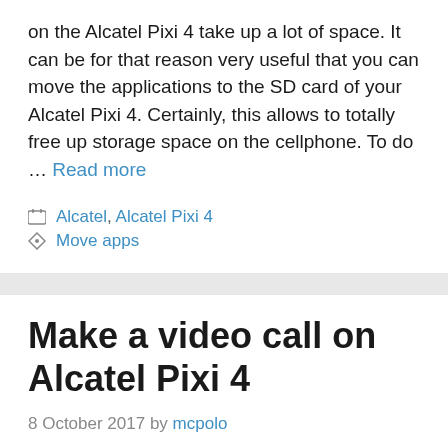on the Alcatel Pixi 4 take up a lot of space. It can be for that reason very useful that you can move the applications to the SD card of your Alcatel Pixi 4. Certainly, this allows to totally free up storage space on the cellphone. To do … Read more
Alcatel, Alcatel Pixi 4
Move apps
Make a video call on Alcatel Pixi 4
8 October 2017 by mcpolo